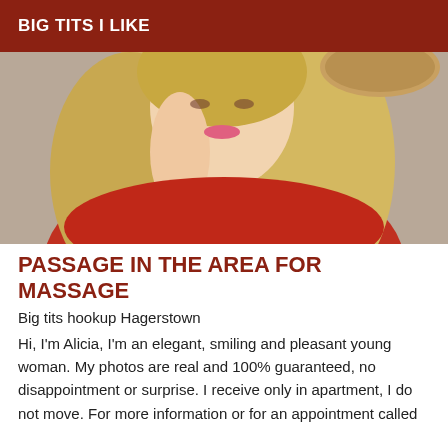BIG TITS I LIKE
[Figure (photo): Blonde woman in red top, selfie-style photo, hair down, bracelet visible]
PASSAGE IN THE AREA FOR MASSAGE
Big tits hookup Hagerstown
Hi, I'm Alicia, I'm an elegant, smiling and pleasant young woman. My photos are real and 100% guaranteed, no disappointment or surprise. I receive only in apartment, I do not move. For more information or for an appointment called